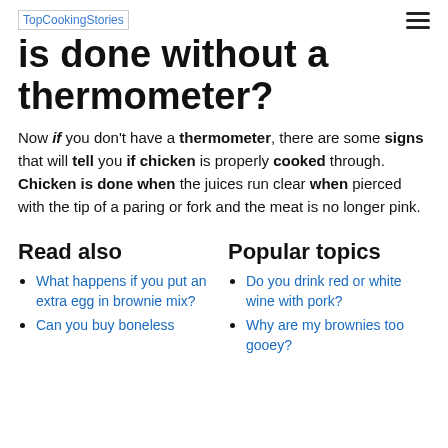TopCookingStories
is done without a thermometer?
Now if you don't have a thermometer, there are some signs that will tell you if chicken is properly cooked through. Chicken is done when the juices run clear when pierced with the tip of a paring or fork and the meat is no longer pink.
Read also
What happens if you put an extra egg in brownie mix?
Can you buy boneless
Popular topics
Do you drink red or white wine with pork?
Why are my brownies too gooey?